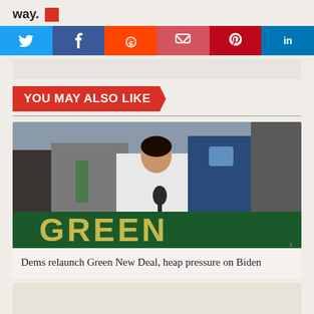way.
[Figure (infographic): Social media sharing buttons: Twitter (blue), Facebook (dark blue), Reddit (orange), Pocket (pink), Pinterest (dark red), LinkedIn (blue)]
YOU MAY ALSO LIKE
[Figure (photo): A woman in white jacket speaking at a podium with a Green New Deal banner visible; other people in background]
Dems relaunch Green New Deal, heap pressure on Biden